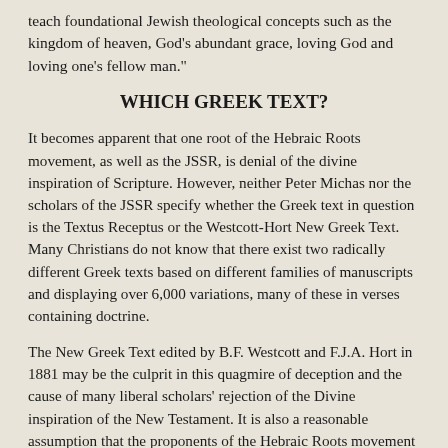teach foundational Jewish theological concepts such as the kingdom of heaven, God's abundant grace, loving God and loving one's fellow man."
WHICH GREEK TEXT?
It becomes apparent that one root of the Hebraic Roots movement, as well as the JSSR, is denial of the divine inspiration of Scripture. However, neither Peter Michas nor the scholars of the JSSR specify whether the Greek text in question is the Textus Receptus or the Westcott-Hort New Greek Text. Many Christians do not know that there exist two radically different Greek texts based on different families of manuscripts and displaying over 6,000 variations, many of these in verses containing doctrine.
The New Greek Text edited by B.F. Westcott and F.J.A. Hort in 1881 may be the culprit in this quagmire of deception and the cause of many liberal scholars' rejection of the Divine inspiration of the New Testament. It is also a reasonable assumption that the proponents of the Hebraic Roots movement doubt the inspiration of the Gospels because their Westcott-Hort